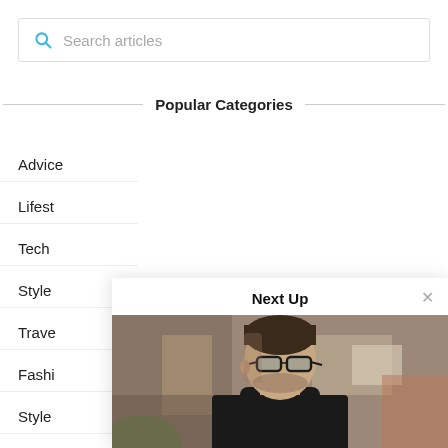Search articles
Popular Categories
Advice
Lifestyle
Tech
Style
Travel
Fashion
Style ...
General
Next Up
[Figure (photo): Man with glasses wearing a black turtleneck sweater, looking to the side, outdoors with blurred brick building background]
5 TIPS FOR GETTING A RADIANT COMPLEXION – EVEN IN THE DEAD OF WINTER
George Lavas • November 19, 2018